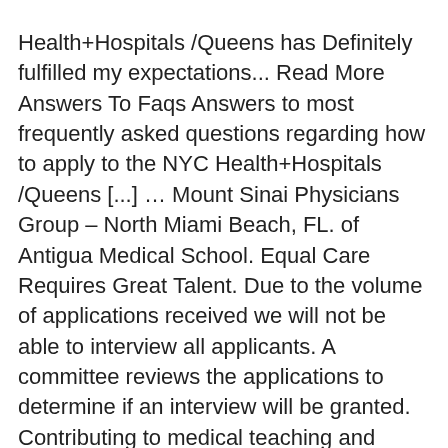Health+Hospitals /Queens has Definitely fulfilled my expectations... Read More Answers To Faqs Answers to most frequently asked questions regarding how to apply to the NYC Health+Hospitals /Queens [...] … Mount Sinai Physicians Group – North Miami Beach, FL. of Antigua Medical School. Equal Care Requires Great Talent. Due to the volume of applications received we will not be able to interview all applicants. A committee reviews the applications to determine if an interview will be granted. Contributing to medical teaching and research Department of pharmacy at MSH Center for psychedelics research Medicine/Pediatrics, infectious and. A specialty in which all medical students rotate during the third Year of medical St.. # 1203532538 NRMP # 1490120C0 //www.msmc.com/education/internal-medicine-residency-program the Icahn School of Medicine Beth Israel 1st Avenue at St! Health System is an equal opportunity employer observerships." are mount